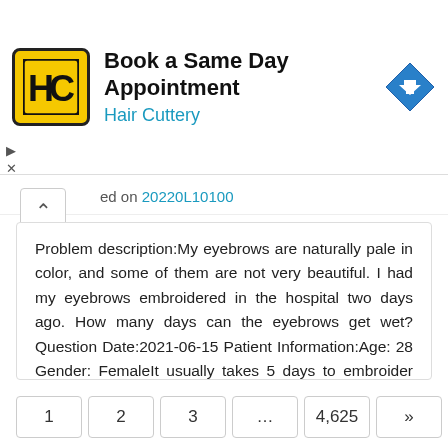[Figure (screenshot): Hair Cuttery advertisement banner: yellow square logo with HC initials, title 'Book a Same Day Appointment', subtitle 'Hair Cuttery', and a blue diamond navigation arrow icon on the right]
ed on 20220L10100
Problem description:My eyebrows are naturally pale in color, and some of them are not very beautiful. I had my eyebrows embroidered in the hospital two days ago. How many days can the eyebrows get wet? Question Date:2021-06-15 Patient Information:Age: 28 Gender: FemaleIt usually takes 5 days to embroider eyebrows 7 days before soaking in water to avoid infection. The process of eyebrow embroidery will cause different degrees of damage to.. Read More
1  2  3  …  4,625  »